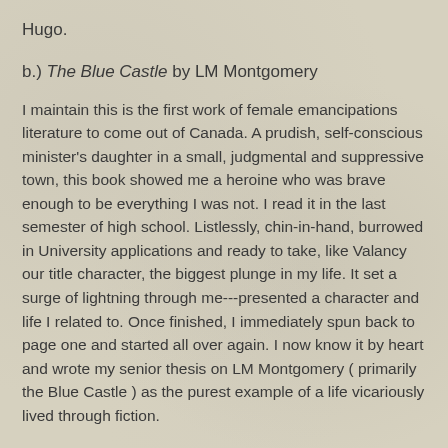Hugo.
b.) The Blue Castle by LM Montgomery
I maintain this is the first work of female emancipations literature to come out of Canada. A prudish, self-conscious minister's daughter in a small, judgmental and suppressive town, this book showed me a heroine who was brave enough to be everything I was not. I read it in the last semester of high school. Listlessly, chin-in-hand, burrowed in University applications and ready to take, like Valancy our title character, the biggest plunge in my life. It set a surge of lightning through me---presented a character and life I related to. Once finished, I immediately spun back to page one and started all over again. I now know it by heart and wrote my senior thesis on LM Montgomery ( primarily the Blue Castle ) as the purest example of a life vicariously lived through fiction.
2.) one book you wish that you had written: